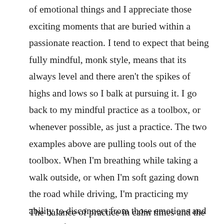of emotional things and I appreciate those exciting moments that are buried within a passionate reaction. I tend to expect that being fully mindful, monk style, means that its always level and there aren't the spikes of highs and lows so I balk at pursuing it. I go back to my mindful practice as a toolbox, or whenever possible, as just a practice. The two examples above are pulling tools out of the toolbox. When I'm breathing while taking a walk outside, or when I'm soft gazing down the road while driving, I'm practicing my ability to disconnect from those emotions and just be. If I can get good at being present in the non-emotional moments then I can reference back to that when things do get emotionally charged.
The balance of practice in calm times and the actions I